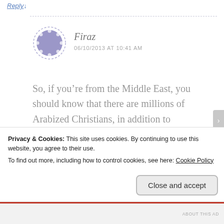Reply
Firaz
06/10/2013 AT 10:41 AM
So, if you're from the Middle East, you should know that there are millions of Arabized Christians, in addition to Armenians, Arameans, Copts, and Assyrians in the Middle East. These people have been Christian since before Islam even existed. There is no need to
Privacy & Cookies: This site uses cookies. By continuing to use this website, you agree to their use.
To find out more, including how to control cookies, see here: Cookie Policy
Close and accept